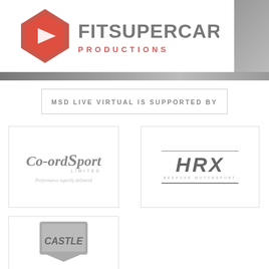[Figure (logo): FITSUPERCAR Productions logo with red diamond/pentagon shape and grey text at top of page]
MSD LIVE VIRTUAL IS SUPPORTED BY
[Figure (logo): Co-ordSport Limited logo — italic serif text with tagline 'Performance expertly delivered']
[Figure (logo): HRX Bespoke Motorsport logo — bold italic sans-serif letters between two horizontal lines]
[Figure (logo): Castle motorsport logo — shield/crest shape with CASTLE text in grey tones]